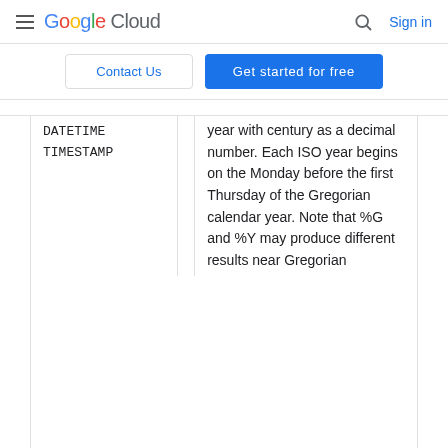Google Cloud — Sign in
Contact Us | Get started for free
| Format | Types | Description |
| --- | --- | --- |
| DATETIME TIMESTAMP |  | year with century as a decimal number. Each ISO year begins on the Monday before the first Thursday of the Gregorian calendar year. Note that %G and %Y may produce different results near Gregorian |